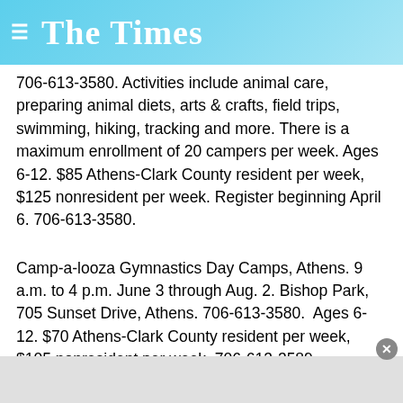The Times
706-613-3580. Activities include animal care, preparing animal diets, arts & crafts, field trips, swimming, hiking, tracking and more. There is a maximum enrollment of 20 campers per week. Ages 6-12. $85 Athens-Clark County resident per week, $125 nonresident per week. Register beginning April 6. 706-613-3580.
Camp-a-looza Gymnastics Day Camps, Athens. 9 a.m. to 4 p.m. June 3 through Aug. 2. Bishop Park, 705 Sunset Drive, Athens. 706-613-3580.  Ages 6-12. $70 Athens-Clark County resident per week, $105 nonresident per week. 706-613-3589.